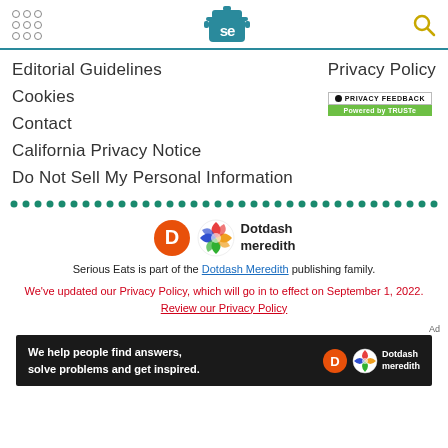Serious Eats header navigation bar
Editorial Guidelines
Privacy Policy
Cookies
[Figure (logo): TRUSTe Privacy Feedback badge - black dot + PRIVACY FEEDBACK text, Powered by TRUSTe on green background]
Contact
California Privacy Notice
Do Not Sell My Personal Information
[Figure (logo): Dotdash Meredith logo - orange D circle with colorful pattern and Dotdash meredith text]
Serious Eats is part of the Dotdash Meredith publishing family.
We've updated our Privacy Policy, which will go in to effect on September 1, 2022. Review our Privacy Policy
[Figure (illustration): Ad banner: dark background with 'We help people find answers, solve problems and get inspired.' and Dotdash Meredith logo]